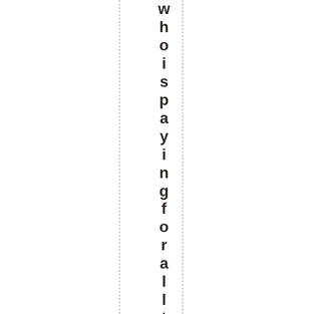who is paying for all this? If T